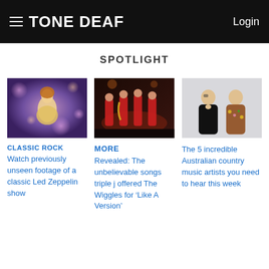TONE DEAF  Login
SPOTLIGHT
[Figure (photo): Female performer on stage with bokeh lights background]
CLASSIC ROCK
Watch previously unseen footage of a classic Led Zeppelin show
[Figure (photo): Band in red shirts performing on stage with instruments]
MORE
Revealed: The unbelievable songs triple j offered The Wiggles for ‘Like A Version’
[Figure (photo): Two men posing, one in black shirt, one in floral shirt]
The 5 incredible Australian country music artists you need to hear this week